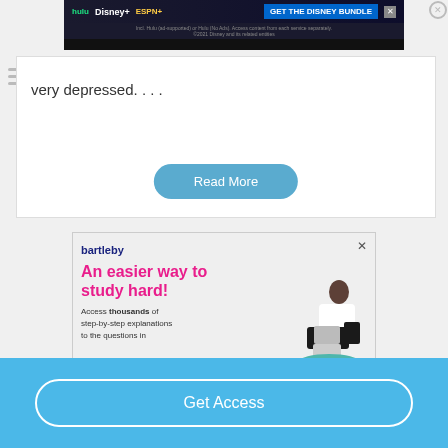[Figure (screenshot): Disney Bundle advertisement banner showing Hulu, Disney+, ESPN+ logos with 'GET THE DISNEY BUNDLE' call to action]
very depressed. . . .
Read More
[Figure (screenshot): Bartleby advertisement: 'An easier way to study hard! Access thousands of step-by-step explanations to the questions in' with GET STARTED button]
Get Access